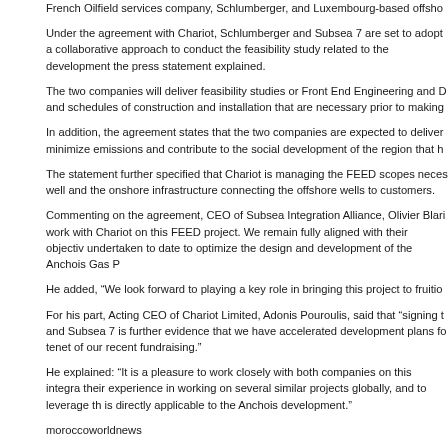According to a press release, Chariot awarded the feasibility study tender to a French Oilfield services company, Schlumberger, and Luxembourg-based offshore...
Under the agreement with Chariot, Schlumberger and Subsea 7 are set to adopt a collaborative approach to conduct the feasibility study related to the development, the press statement explained.
The two companies will deliver feasibility studies or Front End Engineering and D... and schedules of construction and installation that are necessary prior to making...
In addition, the agreement states that the two companies are expected to deliver... minimize emissions and contribute to the social development of the region that h...
The statement further specified that Chariot is managing the FEED scopes neces... well and the onshore infrastructure connecting the offshore wells to customers.
Commenting on the agreement, CEO of Subsea Integration Alliance, Olivier Blari... work with Chariot on this FEED project. We remain fully aligned with their objectiv... undertaken to date to optimize the design and development of the Anchois Gas P...
He added, “We look forward to playing a key role in bringing this project to fruitio...
For his part, Acting CEO of Chariot Limited, Adonis Pouroulis, said that “signing t... and Subsea 7 is further evidence that we have accelerated development plans fo... tenet of our recent fundraising.”
He explained: “It is a pleasure to work closely with both companies on this integra... their experience in working on several similar projects globally, and to leverage th... is directly applicable to the Anchois development.”
moroccoworldnews